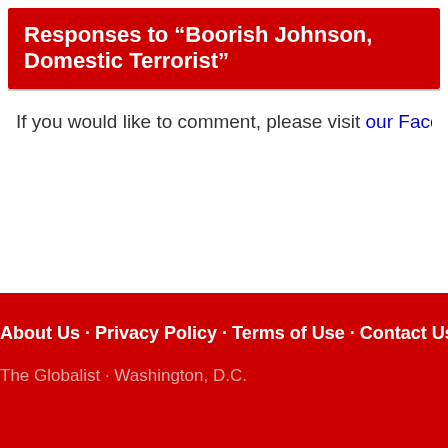Responses to “Boorish Johnson, Domestic Terrorist”
If you would like to comment, please visit our Facebook page.
About Us · Privacy Policy · Terms of Use · Contact Us
The Globalist · Washington, D.C.